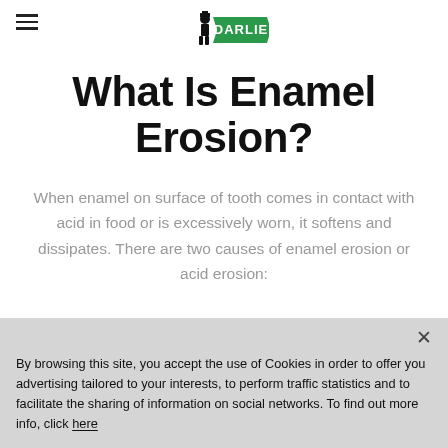DARLIE (logo)
What Is Enamel Erosion?
When enamel on surface of tooth comes in contact with acid in food or is excessively worn, it softens and dissipates. There are two causes of enamel erosion or acid erosion:
By browsing this site, you accept the use of Cookies in order to offer you advertising tailored to your interests, to perform traffic statistics and to facilitate the sharing of information on social networks. To find out more info, click here